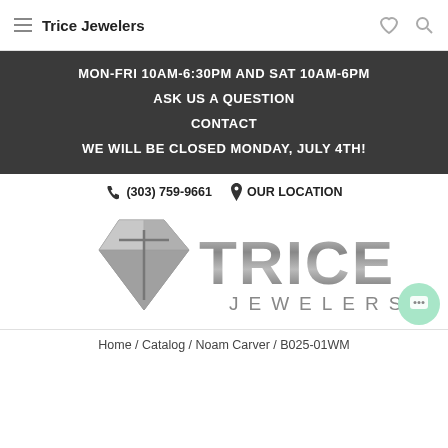Trice Jewelers
MON-FRI 10AM-6:30PM AND SAT 10AM-6PM
ASK US A QUESTION
CONTACT
WE WILL BE CLOSED MONDAY, JULY 4TH!
(303) 759-9661  OUR LOCATION
[Figure (logo): Trice Jewelers logo with diamond icon and silver metallic text]
Home / Catalog / Noam Carver / B025-01WM